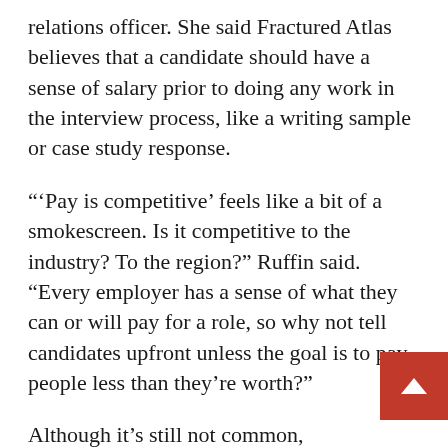relations officer. She said Fractured Atlas believes that a candidate should have a sense of salary prior to doing any work in the interview process, like a writing sample or case study response.
"'Pay is competitive' feels like a bit of a smokescreen. Is it competitive to the industry? To the region?" Ruffin said. "Every employer has a sense of what they can or will pay for a role, so why not tell candidates upfront unless the goal is to pay people less than they're worth?"
Although it's still not common, transparency about pay in job listings is now required by law in one US state. A law went into effect in Colorado this year requiring employers to list salary ranges for job roles open to state residents, even when remo companies fail to disclose this in their job openings,